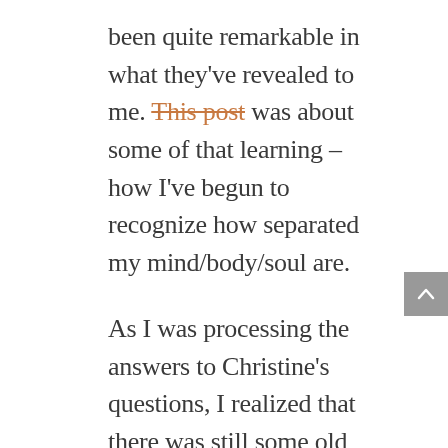been quite remarkable in what they've revealed to me. This post was about some of that learning – how I've begun to recognize how separated my mind/body/soul are.

As I was processing the answers to Christine's questions, I realized that there was still some old baggage I was carrying around – stuff that was contributing to the disconnect.

Twenty-two years ago (exactly half